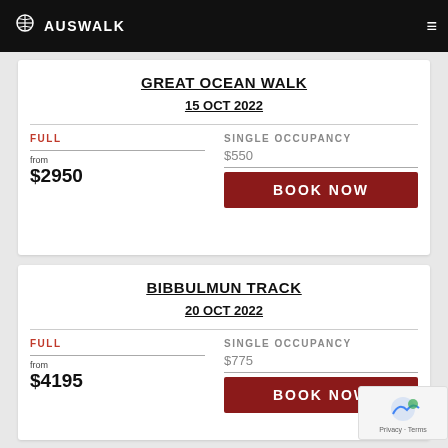AUSWALK
GREAT OCEAN WALK
15 OCT 2022
FULL
SINGLE OCCUPANCY
$550
from $2950
BOOK NOW
BIBBULMUN TRACK
20 OCT 2022
FULL
SINGLE OCCUPANCY
$775
from $4195
BOOK NOW